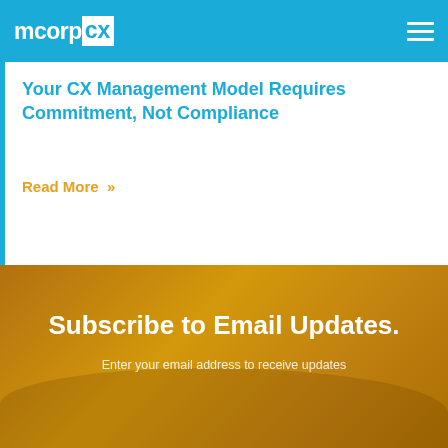mcorpcx
Your CX Management Model Requires Commitment, Not Compliance
Read More »
Subscribe to Email Updates.